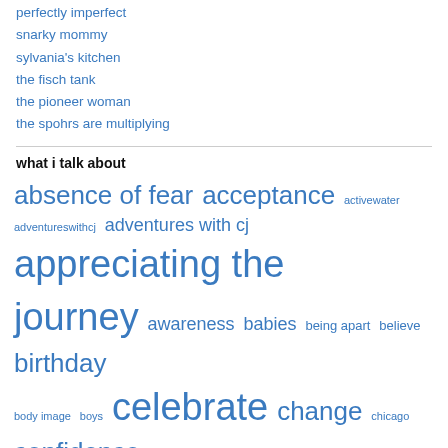perfectly imperfect
snarky mommy
sylvania's kitchen
the fisch tank
the pioneer woman
the spohrs are multiplying
what i talk about
[Figure (infographic): Tag cloud with words in varying sizes in blue: absence of fear, acceptance, activewater, adventureswithcj, adventures with cj, appreciating the journey, awareness, babies, being apart, believe, birthday, body image, boys, celebrate, change, chicago, confidence, connor, connor james, cycling dad, diy, encouragement, engagement]